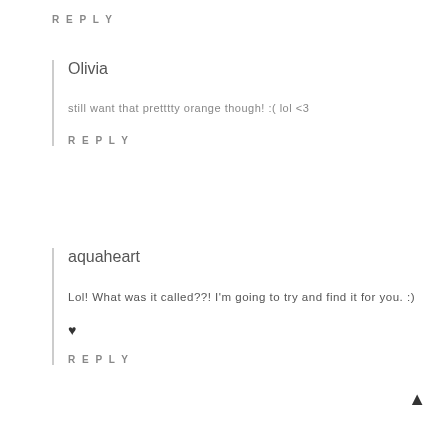REPLY
Olivia
still want that pretttty orange though! :( lol <3
REPLY
aquaheart
Lol! What was it called??! I'm going to try and find it for you. :)
♥
REPLY